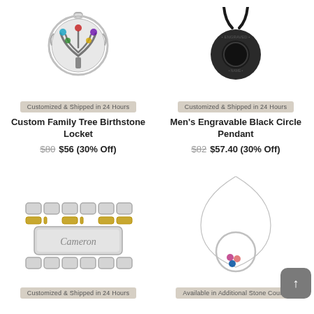[Figure (photo): Custom Family Tree Birthstone Locket jewelry product photo]
[Figure (photo): Men's Engravable Black Circle Pendant jewelry product photo]
Customized & Shipped in 24 Hours
Customized & Shipped in 24 Hours
Custom Family Tree Birthstone Locket
Men's Engravable Black Circle Pendant
$80  $56 (30% Off)
$82  $57.40 (30% Off)
[Figure (photo): Men's two-tone stainless steel ID bracelet engraved with 'Cameron']
[Figure (photo): Birthstone circle pendant necklace on silver chain]
Customized & Shipped in 24 Hours
Available in Additional Stone Counts